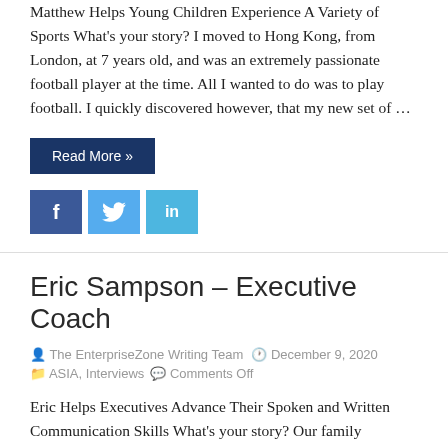Matthew Helps Young Children Experience A Variety of Sports What's your story? I moved to Hong Kong, from London, at 7 years old, and was an extremely passionate football player at the time. All I wanted to do was to play football. I quickly discovered however, that my new set of …
Read More »
[Figure (other): Social sharing icons: Facebook (blue), Twitter (light blue), LinkedIn (light blue)]
Eric Sampson – Executive Coach
The EnterpriseZone Writing Team   December 9, 2020
ASIA, Interviews   Comments Off
Eric Helps Executives Advance Their Spoken and Written Communication Skills What's your story? Our family migrated to New Zealand in 1979. I worked there in Banking for 15 years before returning home to HK in 1994. I've since run an Immigration Consultancy, worked in the music industry, property sales, and for …
Read More »
[Figure (other): Social sharing icons: Facebook (blue), Twitter (light blue), LinkedIn (light blue) - partially visible]